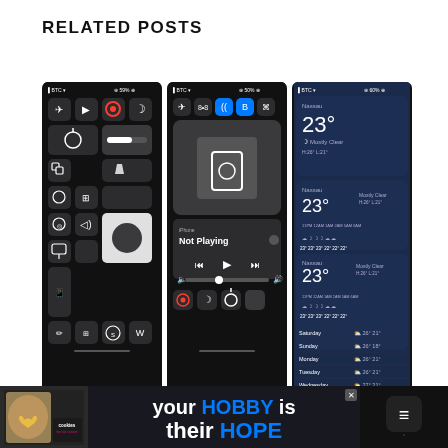RELATED POSTS
[Figure (screenshot): Three iPhone screenshots showing iOS Control Center panels. Left: dark control center with icons (airplane mode, play, screen record, sleep, brightness slider, flashlight, calculator, multi-window, screen time, camera, shutter, remote, music controls, Shazam, Wikipedia). Middle: control center with WiFi and Bluetooth active (blue), showing AirPlay/mirroring large tile and 'Not Playing' music controls. Right: iOS weather app showing Nassau 23° Mostly Clear with forecast rows for multiple times and days.]
[Figure (screenshot): Ad banner at bottom: cookies for kid cancer logo on left, 'your HOBBY is their HOPE' text in center, Millo app icon on right.]